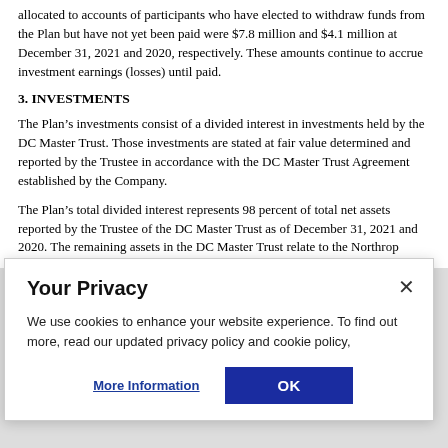allocated to accounts of participants who have elected to withdraw funds from the Plan but have not yet been paid were $7.8 million and $4.1 million at December 31, 2021 and 2020, respectively. These amounts continue to accrue investment earnings (losses) until paid.
3. INVESTMENTS
The Plan's investments consist of a divided interest in investments held by the DC Master Trust. Those investments are stated at fair value determined and reported by the Trustee in accordance with the DC Master Trust Agreement established by the Company.
The Plan's total divided interest represents 98 percent of total net assets reported by the Trustee of the DC Master Trust as of December 31, 2021 and 2020. The remaining assets in the DC Master Trust relate to the Northrop Grumman Financial Security and Savings Program.
[Figure (screenshot): Cookie consent dialog overlay: Title 'Your Privacy', close button (×), body text 'We use cookies to enhance your website experience. To find out more, read our updated privacy policy and cookie policy,', buttons 'More Information' (link) and 'OK' (blue button).]